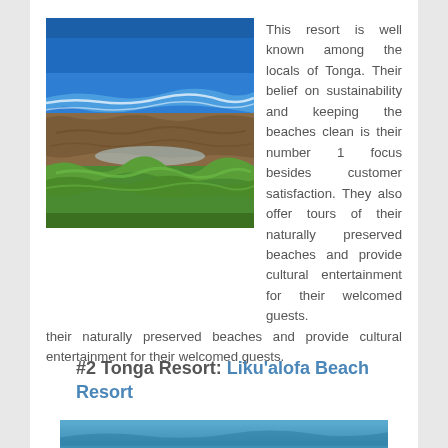[Figure (photo): Coastal beach scene with rocky shoreline, blue ocean waves, and lush green tropical vegetation in the foreground]
This resort is well known among the locals of Tonga. Their belief on sustainability and keeping the beaches clean is their number 1 focus besides customer satisfaction. They also offer tours of their naturally preserved beaches and provide cultural entertainment for their welcomed guests.
#2 Tonga Resort: Liku'alofa Beach Resort
[Figure (photo): Partial view of a coastal/beach image at the bottom of the page]